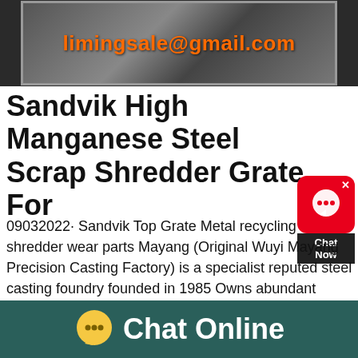[Figure (photo): Industrial machinery photo with email address overlay showing limingsale@gmail.com in orange text on a dark industrial background]
Sandvik High Manganese Steel Scrap Shredder Grate For
09032022· Sandvik Top Grate Metal recycling shredder wear parts Mayang (Original Wuyi Mayang Precision Casting Factory) is a specialist reputed steel casting foundry founded in 1985 Owns abundant experience skilled technology in producing high manganese steel, high chromium cast iron, alloy steel, carbon steel, heatresistant steel and other castings:::SandvikStone Crusher Manufacturers for
Chat Online